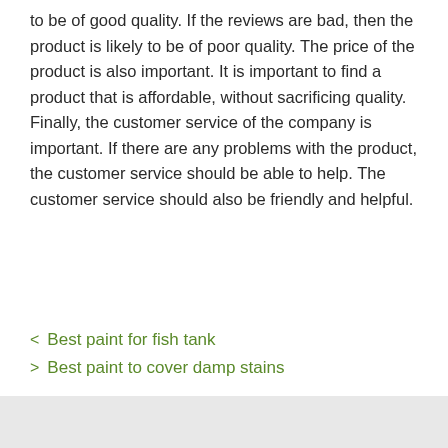to be of good quality. If the reviews are bad, then the product is likely to be of poor quality. The price of the product is also important. It is important to find a product that is affordable, without sacrificing quality. Finally, the customer service of the company is important. If there are any problems with the product, the customer service should be able to help. The customer service should also be friendly and helpful.
< Best paint for fish tank
> Best paint to cover damp stains